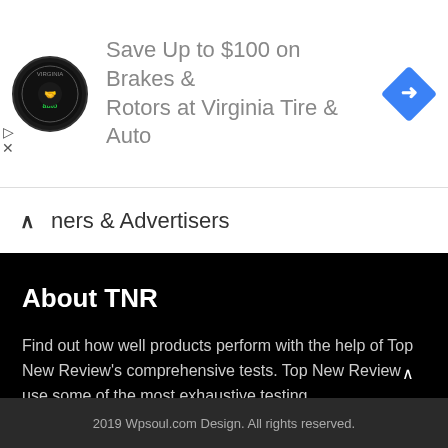[Figure (logo): Virginia Tire & Auto circular logo with black background and green text]
Save Up to $100 on Brakes & Rotors at Virginia Tire & Auto
[Figure (illustration): Blue diamond-shaped navigation/direction icon with white arrow]
ners & Advertisers
About TNR
Find out how well products perform with the help of Top New Review's comprehensive tests. Top New Review use some of the most exhaustive testing ...
2019 Wpsoul.com Design. All rights reserved.